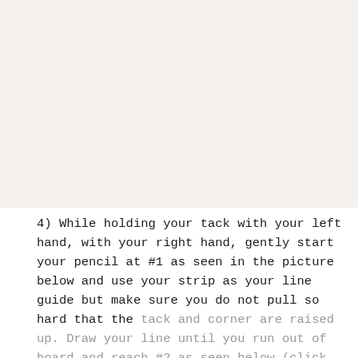[Figure (other): Blank/image area at the top of the page showing a photograph or illustration (not visible in this crop).]
4) While holding your tack with your left hand, with your right hand, gently start your pencil at #1 as seen in the picture below and use your strip as your line guide but make sure you do not pull so hard that the tack and corner are raised up. Draw your line until you run out of board and reach #2 as seen below (click on